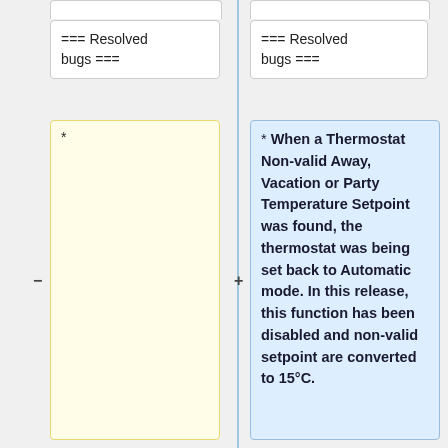=== Resolved bugs ===
=== Resolved bugs ===
*
* When a Thermostat Non-valid Away, Vacation or Party Temperature Setpoint was found, the thermostat was being set back to Automatic mode. In this release, this function has been disabled and non-valid setpoint are converted to 15°C.